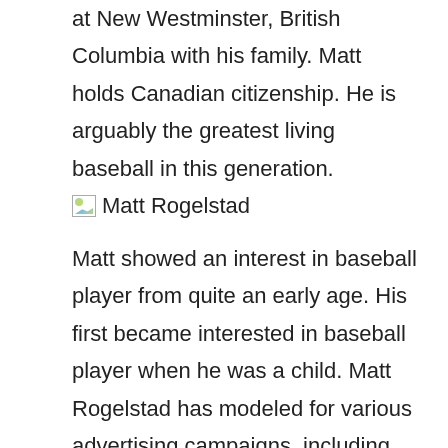at New Westminster, British Columbia with his family. Matt holds Canadian citizenship. He is arguably the greatest living baseball in this generation.
[Figure (photo): Broken image placeholder labeled 'Matt Rogelstad']
Matt showed an interest in baseball player from quite an early age. His first became interested in baseball player when he was a child. Matt Rogelstad has modeled for various advertising campaigns, including work for top agencies. He quickly became the best baseball in his age group.